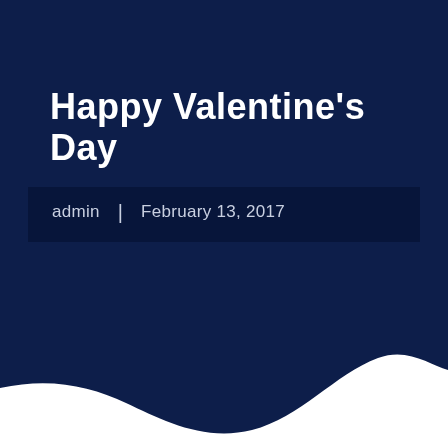[Figure (illustration): Dark navy blue wave background shape that fills the top portion of the page and curves down to a white background area in the lower portion. The wave curves from left side down to center-right and back up.]
Happy Valentine's Day
admin | February 13, 2017